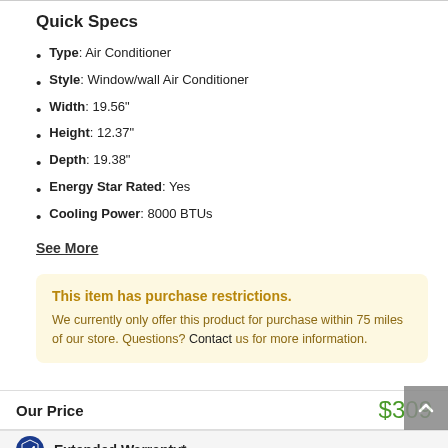Quick Specs
Type: Air Conditioner
Style: Window/wall Air Conditioner
Width: 19.56"
Height: 12.37"
Depth: 19.38"
Energy Star Rated: Yes
Cooling Power: 8000 BTUs
See More
This item has purchase restrictions. We currently only offer this product for purchase within 75 miles of our store. Questions? Contact us for more information.
Our Price $309
Extended Warranty*